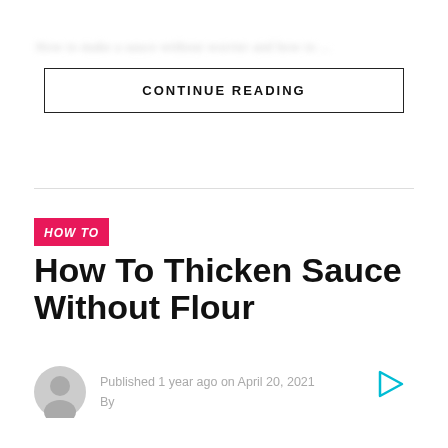[blurred/obscured text]
CONTINUE READING
HOW TO
How To Thicken Sauce Without Flour
Published 1 year ago on April 20, 2021
By